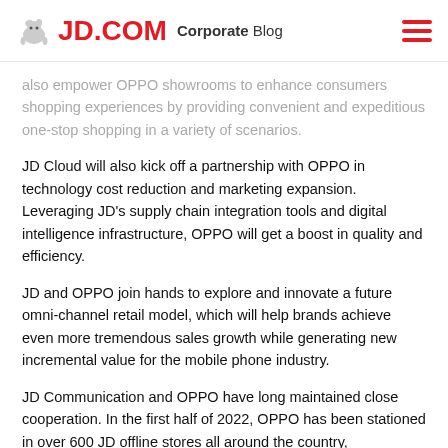JD.COM Corporate Blog
also empower OPPO showrooms to enhance consumers shopping experiences by providing convenient and expeditious one-stop shopping in a variety of scenarios.
JD Cloud will also kick off a partnership with OPPO in technology cost reduction and marketing expansion. Leveraging JD's supply chain integration tools and digital intelligence infrastructure, OPPO will get a boost in quality and efficiency.
JD and OPPO join hands to explore and innovate a future omni-channel retail model, which will help brands achieve even more tremendous sales growth while generating new incremental value for the mobile phone industry.
JD Communication and OPPO have long maintained close cooperation. In the first half of 2022, OPPO has been stationed in over 600 JD offline stores all around the country, contributing to the rapid sales growth of OPPO brands.